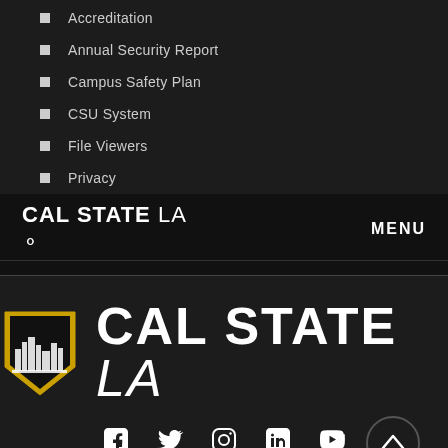Accreditation
Annual Security Report
Campus Safety Plan
CSU System
File Viewers
Privacy
CAL STATE LA  MENU
[Figure (logo): Cal State LA shield logo with city skyline in gold and black, followed by CAL STATE LA text in large white bold/italic font]
[Figure (infographic): Social media icons row: Facebook, Twitter, Instagram, LinkedIn, YouTube. Back-to-top arrow button on right.]